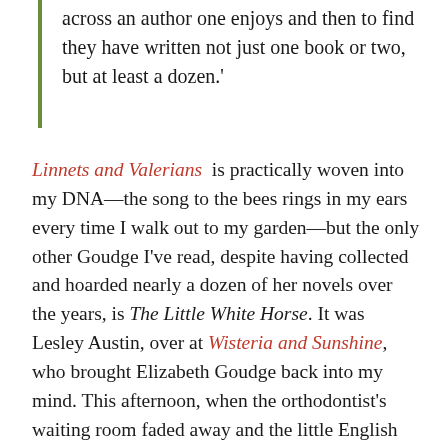across an author one enjoys and then to find they have written not just one book or two, but at least a dozen.'
Linnets and Valerians is practically woven into my DNA—the song to the bees rings in my ears every time I walk out to my garden—but the only other Goudge I've read, despite having collected and hoarded nearly a dozen of her novels over the years, is The Little White Horse. It was Lesley Austin, over at Wisteria and Sunshine, who brought Elizabeth Goudge back into my mind. This afternoon, when the orthodontist's waiting room faded away and the little English village of Appleshaw formed around me, and the house with the green door, and Queen Mab's hazelnut-sized coach in the collection of 'little things,' I knew I'd remembered how to breathe again.